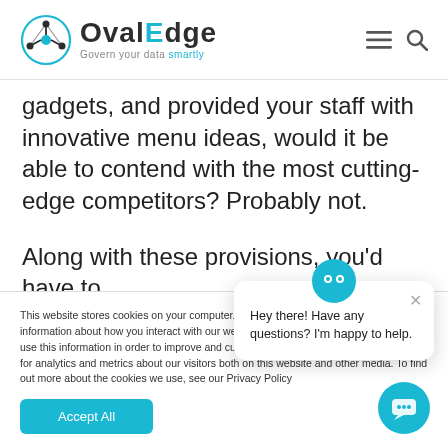OvalEdge — Govern your data smartly
gadgets, and provided your staff with innovative menu ideas, would it be able to contend with the most cutting-edge competitors? Probably not.
Along with these provisions, you'd have to
This website stores cookies on your computer. These cookies are used to collect information about how you interact with our website and allow us to remember you. We use this information in order to improve and customize your browsing experience and for analytics and metrics about our visitors both on this website and other media. To find out more about the cookies we use, see our Privacy Policy
Accept All
Hey there! Have any questions? I'm happy to help.